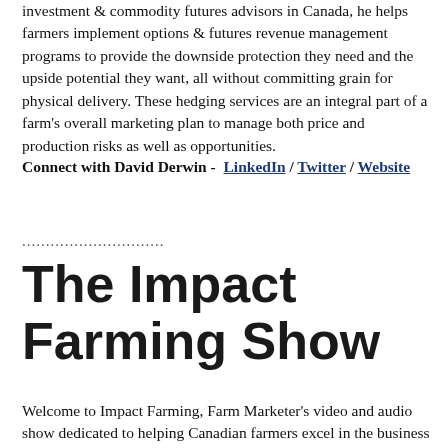investment & commodity futures advisors in Canada, he helps farmers implement options & futures revenue management programs to provide the downside protection they need and the upside potential they want, all without committing grain for physical delivery. These hedging services are an integral part of a farm's overall marketing plan to manage both price and production risks as well as opportunities.
Connect with David Derwin - LinkedIn / Twitter / Website
..............................
The Impact Farming Show
Welcome to Impact Farming, Farm Marketer's video and audio show dedicated to helping Canadian farmers excel in the business of farming. Our goal with this show is to